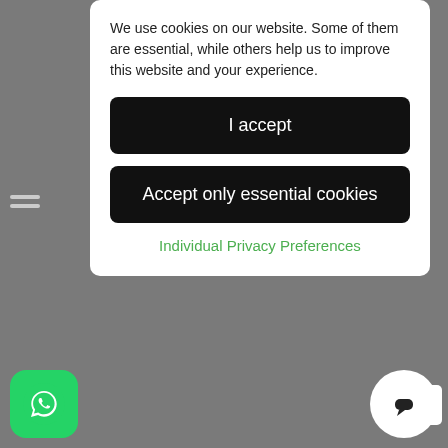We use cookies on our website. Some of them are essential, while others help us to improve this website and your experience.
I accept
Accept only essential cookies
Individual Privacy Preferences
Check up
Edinburgh
Cosmetic Dentistry
Elizabeth Glass
Zirconia Crowns
Mouth Cancer
Orthodontist
Veneers